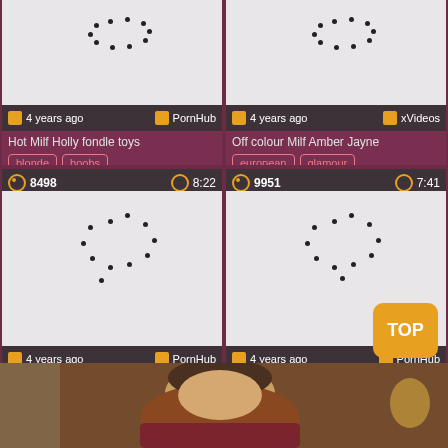[Figure (screenshot): Video thumbnail card: Hot Milf Holly fondle toys, 4 years ago, PornHub, tags: blonde, boobs]
[Figure (screenshot): Video thumbnail card: Off colour Milf Amber Jayne, 4 years ago, xVideos, tags: european, glamour]
[Figure (screenshot): Video thumbnail card: Leader big cheese Fucked, 8498 views, 8:22, 4 years ago, PornHub, tags: boobs, british]
[Figure (screenshot): Video thumbnail card: Dominate coition god Eva, 9951 views, 7:41, 4 years ago, PornHub, tags: big ass, boobs]
[Figure (photo): Partial photo at the bottom of the page showing a person]
TOP